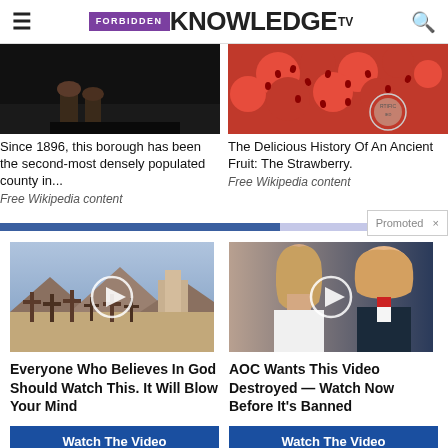FORBIDDEN KNOWLEDGE TV
[Figure (photo): Dark image, possibly horses or boots]
[Figure (photo): Close-up of a red strawberry with a circular certified seal]
Since 1896, this borough has been the second-most densely populated county in...
Free Wikipedia content
The Delicious History Of An Ancient Fruit: The Strawberry.
Free Wikipedia content
Promoted
[Figure (photo): Cemetery with crosses in a desert landscape, video play button overlay]
[Figure (photo): Melania and Donald Trump, video play button overlay]
Everyone Who Believes In God Should Watch This. It Will Blow Your Mind
Watch The Video
AOC Wants This Video Destroyed — Watch Now Before It's Banned
Watch The Video